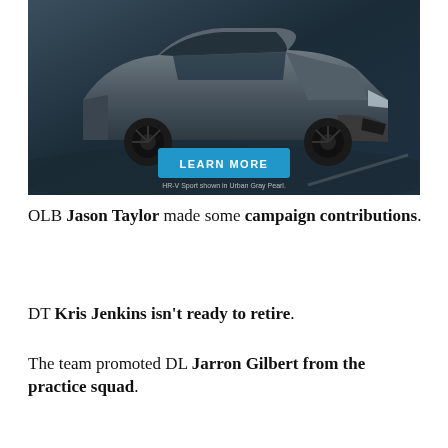[Figure (photo): Honda HR-V Sport SUV shown in Urban Gray Pearl on a dark road background, with a blue 'LEARN MORE' button and caption 'HR-V Sport shown in Urban Gray Pearl.']
HR-V Sport shown in Urban Gray Pearl.
OLB Jason Taylor made some campaign contributions.
DT Kris Jenkins isn't ready to retire.
The team promoted DL Jarron Gilbert from the practice squad.
HC Rex Ryan expects WR Santonio Holmes to see